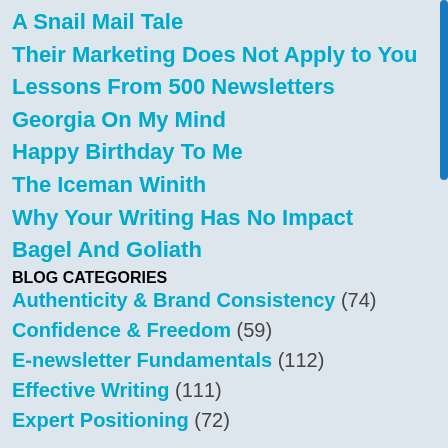A Snail Mail Tale
Their Marketing Does Not Apply to You
Lessons From 500 Newsletters
Georgia On My Mind
Happy Birthday To Me
The Iceman Winith
Why Your Writing Has No Impact
Bagel And Goliath
BLOG CATEGORIES
Authenticity & Brand Consistency (74)
Confidence & Freedom (59)
E-newsletter Fundamentals (112)
Effective Writing (111)
Expert Positioning (72)